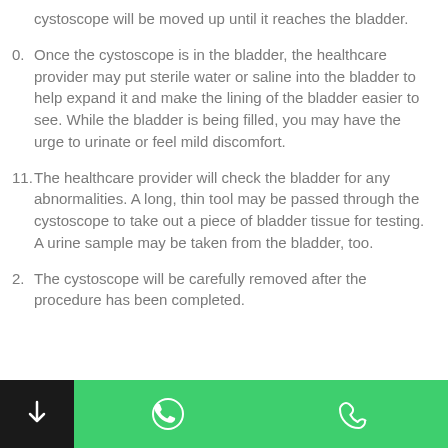cystoscope will be moved up until it reaches the bladder.
0. Once the cystoscope is in the bladder, the healthcare provider may put sterile water or saline into the bladder to help expand it and make the lining of the bladder easier to see. While the bladder is being filled, you may have the urge to urinate or feel mild discomfort.
11. The healthcare provider will check the bladder for any abnormalities. A long, thin tool may be passed through the cystoscope to take out a piece of bladder tissue for testing. A urine sample may be taken from the bladder, too.
2. The cystoscope will be carefully removed after the procedure has been completed.
[Figure (infographic): Mobile app bottom navigation bar with dark left section containing a download arrow icon and green right section containing WhatsApp and phone call icons]